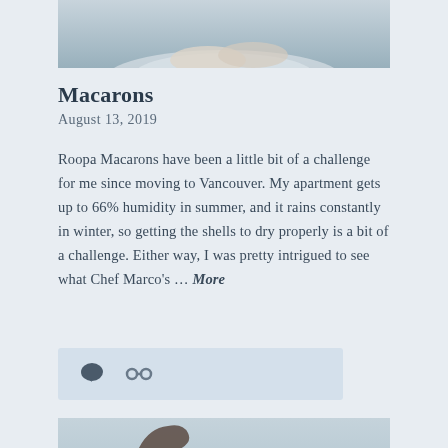[Figure (photo): Top portion of a food photo showing what appears to be macarons on a plate, cropped at top edge]
Macarons
August 13, 2019
Roopa Macarons have been a little bit of a challenge for me since moving to Vancouver. My apartment gets up to 66% humidity in summer, and it rains constantly in winter, so getting the shells to dry properly is a bit of a challenge. Either way, I was pretty intrigued to see what Chef Marco's … More
[Figure (other): Action bar with comment bubble icon and link/share icon on light blue background]
[Figure (photo): Bottom food photo showing a dark crinkled food item (possibly a piece of dark chocolate or dried mushroom) on light blue-grey background]